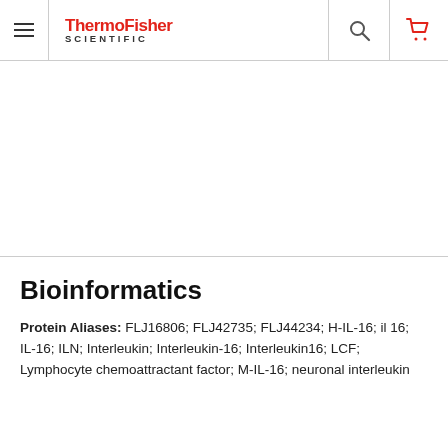ThermoFisher SCIENTIFIC
Bioinformatics
Protein Aliases: FLJ16806; FLJ42735; FLJ44234; H-IL-16; il 16; IL-16; ILN; Interleukin; Interleukin-16; Interleukin16; LCF; Lymphocyte chemoattractant factor; M-IL-16; neuronal interleukin